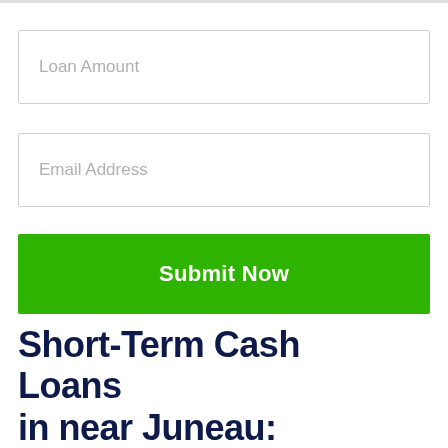Loan Amount
Email Address
Submit Now
Short-Term Cash Loans in near Juneau: